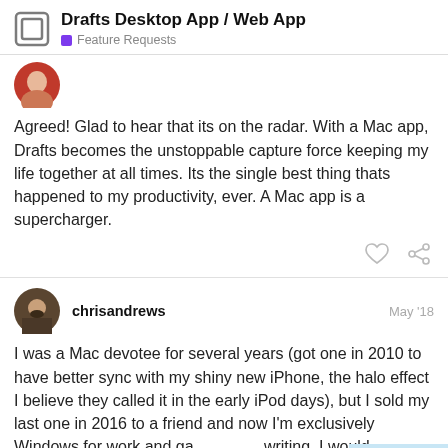Drafts Desktop App / Web App — Feature Requests
[Figure (screenshot): Partial avatar image (red/orange user avatar, top portion only visible)]
Agreed! Glad to hear that its on the radar. With a Mac app, Drafts becomes the unstoppable capture force keeping my life together at all times. Its the single best thing thats happened to my productivity, ever. A Mac app is a supercharger.
[Figure (other): Post action icons: heart (like) and chain link (share)]
chrisandrews   May '18
[Figure (photo): User avatar for chrisandrews — man with beard, dark hair]
I was a Mac devotee for several years (got one in 2010 to have better sync with my shiny new iPhone, the halo effect I believe they called it in the early iPod days), but I sold my last one in 2016 to a friend and now I'm exclusively Windows for work and ga... writing. I would definitely appreciate
11 / 25